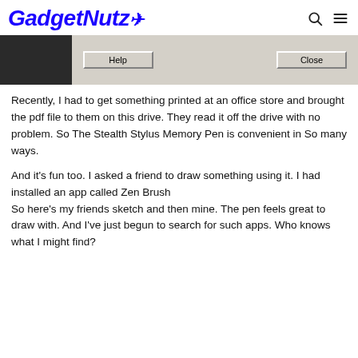GadgetNutz
[Figure (screenshot): A Windows-style dialog bar with 'Help' and 'Close' buttons on a grey background, with dark image on left side.]
Recently, I had to get something printed at an office store and brought the pdf file to them on this drive. They read it off the drive with no problem. So The Stealth Stylus Memory Pen is convenient in So many ways.
And it's fun too. I asked a friend to draw something using it. I had installed an app called Zen Brush
So here's my friends sketch and then mine. The pen feels great to draw with. And I've just begun to search for such apps. Who knows what I might find?